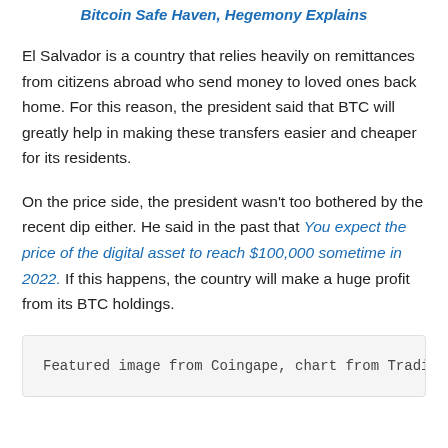Related reading | Crypto Carnage Causes Escape to Bitcoin Safe Haven, Hegemony Explains
El Salvador is a country that relies heavily on remittances from citizens abroad who send money to loved ones back home. For this reason, the president said that BTC will greatly help in making these transfers easier and cheaper for its residents.
On the price side, the president wasn't too bothered by the recent dip either. He said in the past that You expect the price of the digital asset to reach $100,000 sometime in 2022. If this happens, the country will make a huge profit from its BTC holdings.
Featured image from Coingape, chart from Tradin